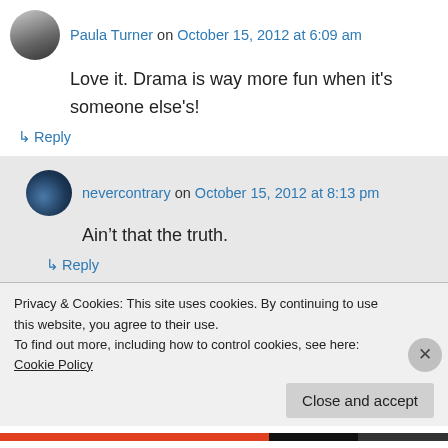Paula Turner on October 15, 2012 at 6:09 am
Love it. Drama is way more fun when it's someone else's!
↳ Reply
nevercontrary on October 15, 2012 at 8:13 pm
Ain't that the truth.
↳ Reply
Privacy & Cookies: This site uses cookies. By continuing to use this website, you agree to their use.
To find out more, including how to control cookies, see here: Cookie Policy
Close and accept